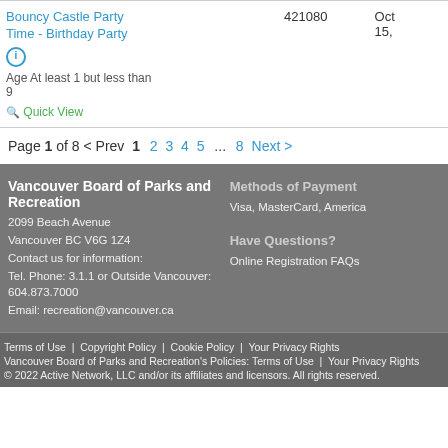| Name | Code | Date |
| --- | --- | --- |
| Bouncy Castle Party Time - Birthday Party | 421080 | Oct 15, |
Age At least 1 but less than 9
Quick View
Page 1 of 8 < Prev  1  2  3  4  5  ...  8  Next >
Vancouver Board of Parks and Recreation
2099 Beach Avenue
Vancouver BC V6G 1Z4
Contact us for information:
Tel. Phone: 3.1.1 or Outside Vancouver: 604.873.7000
Email: recreation@vancouver.ca
Methods of Payment
Visa, MasterCard, America
Have Questions?
Online Registration FAQs
Terms of Use  |  Copyright Policy  |  Cookie Policy  |  Your Privacy Rights
Vancouver Board of Parks and Recreation's Policies: Terms of Use  |  Your Privacy Rights
© 2022 Active Network, LLC and/or its affiliates and licensors. All rights reserved.